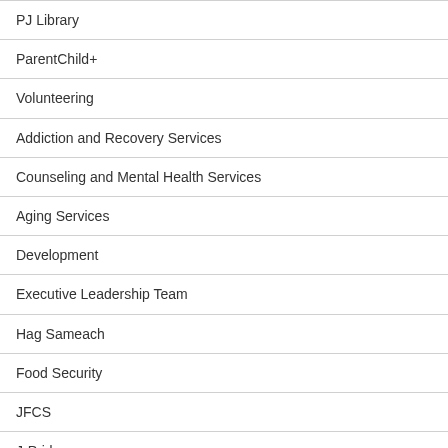PJ Library
ParentChild+
Volunteering
Addiction and Recovery Services
Counseling and Mental Health Services
Aging Services
Development
Executive Leadership Team
Hag Sameach
Food Security
JFCS
J-Pride